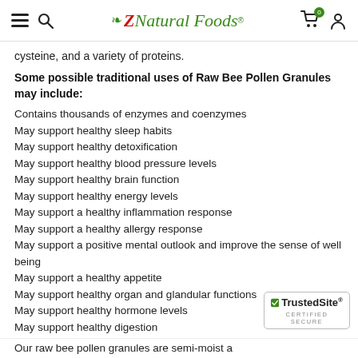Z Natural Foods
cysteine, and a variety of proteins.
Some possible traditional uses of Raw Bee Pollen Granules may include:
Contains thousands of enzymes and coenzymes
May support healthy sleep habits
May support healthy detoxification
May support healthy blood pressure levels
May support healthy brain function
May support healthy energy levels
May support a healthy inflammation response
May support a healthy allergy response
May support a positive mental outlook and improve the sense of well being
May support a healthy appetite
May support healthy organ and glandular functions
May support healthy hormone levels
May support healthy digestion
May support a healthy nervous system
[Figure (logo): TrustedSite Certified Secure badge]
Our raw bee pollen granules are semi-moist a...